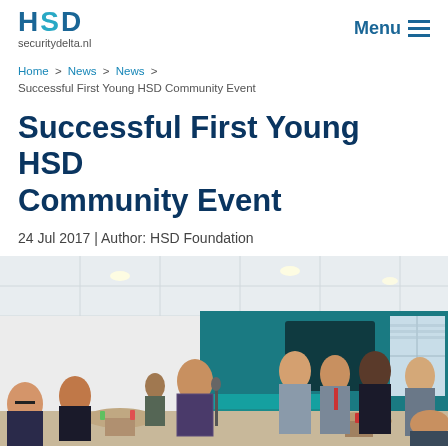HSD securitydelta.nl  Menu
Home > News > News > Successful First Young HSD Community Event
Successful First Young HSD Community Event
24 Jul 2017 | Author: HSD Foundation
[Figure (photo): Indoor networking event photo showing a group of people standing and talking in a modern office space with teal accent wall, round tables, and office lighting.]